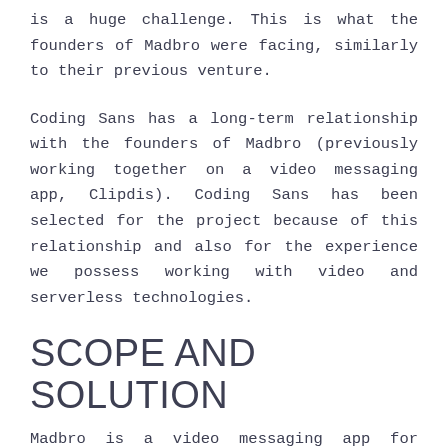is a huge challenge. This is what the founders of Madbro were facing, similarly to their previous venture.
Coding Sans has a long-term relationship with the founders of Madbro (previously working together on a video messaging app, Clipdis). Coding Sans has been selected for the project because of this relationship and also for the experience we possess working with video and serverless technologies.
SCOPE AND SOLUTION
Madbro is a video messaging app for the...